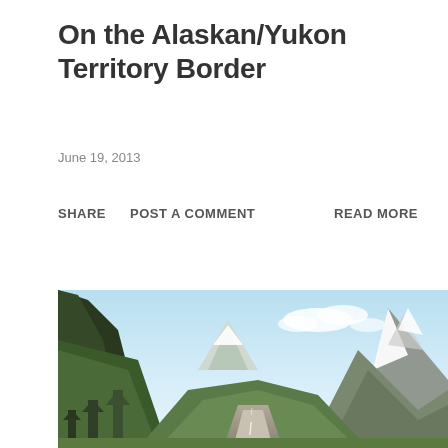On the Alaskan/Yukon Territory Border
June 19, 2013
SHARE   POST A COMMENT   READ MORE
[Figure (photo): Landscape photograph of mountains along the Alaskan/Yukon Territory border, showing green forested slopes on the left, snow-capped mountains in the background and right, with a winding road through the valley under a blue sky with white clouds.]